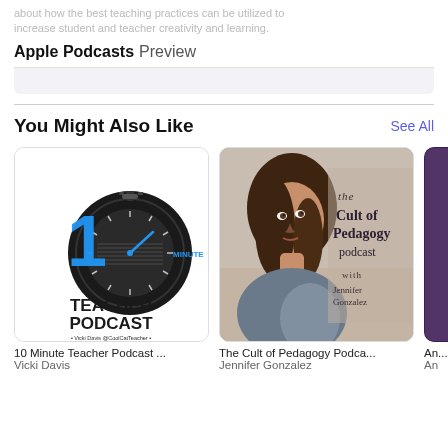about how the best teaching practices can be utilized to increase student and teacher creativity and learning.
Apple Podcasts Preview
You Might Also Like
See All
[Figure (illustration): 10 Minute Teacher Podcast logo with stopwatch graphic, blue numeral 1, text reading TEACHER PODCAST, Vicki Davis @CoolCatTeacher]
10 Minute Teacher Podcast ...
Vicki Davis
[Figure (photo): The Cult of Pedagogy Podcast cover showing Jennifer Gonzalez portrait with podcast title text overlay]
The Cult of Pedagogy Podca...
Jennifer Gonzalez
[Figure (illustration): Partially visible third podcast artwork in purple/plum color]
An...
An